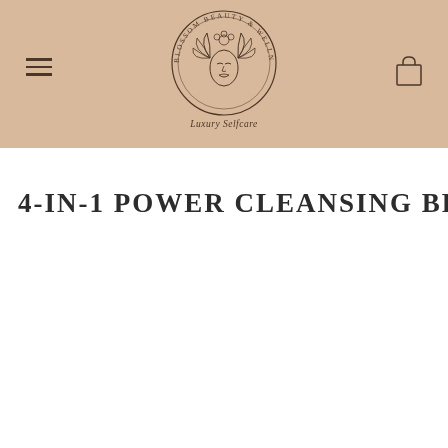[Figure (logo): Blossom Beauty & Wellness Co. circular logo with illustrated woman face surrounded by floral/leaf designs, with tagline 'Luxury Selfcare' below]
4-IN-1 POWER CLEANSING BRUSH